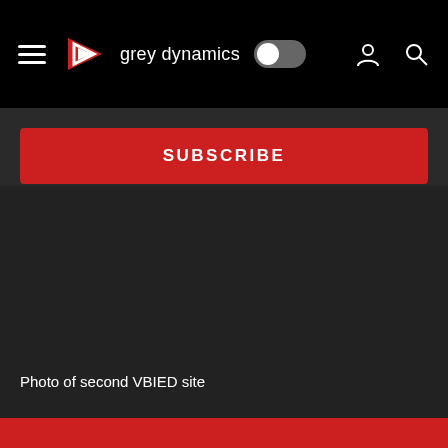grey dynamics
SUBSCRIBE
[Figure (photo): Dark photograph area showing second VBIED site, nearly entirely dark/obscured]
Photo of second VBIED site